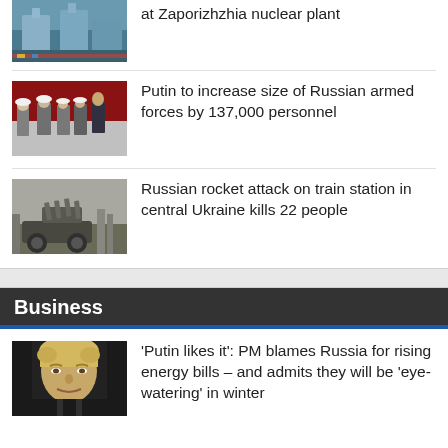[Figure (photo): Partial view of Zaporizhzhia nuclear plant photo thumbnail]
at Zaporizhzhia nuclear plant
[Figure (photo): Putin with military personnel in uniform at parade]
Putin to increase size of Russian armed forces by 137,000 personnel
[Figure (photo): Russian military rocket launch vehicle in field]
Russian rocket attack on train station in central Ukraine kills 22 people
Business
[Figure (photo): Boris Johnson portrait, close-up headshot]
'Putin likes it': PM blames Russia for rising energy bills – and admits they will be 'eye-watering' in winter